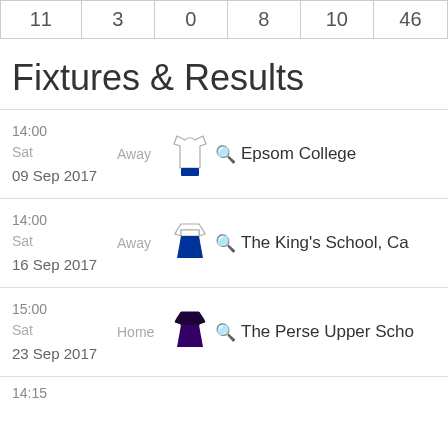| 11 | 3 | 0 | 8 | 10 | 46 |
| --- | --- | --- | --- | --- | --- |
| 11 | 3 | 0 | 8 | 10 | 46 |
Fixtures & Results
14:00 Sat Away 09 Sep 2017 — Epsom College
14:00 Sat Away 16 Sep 2017 — The King's School, Ca
15:00 Sat Home 23 Sep 2017 — The Perse Upper Scho
14:15